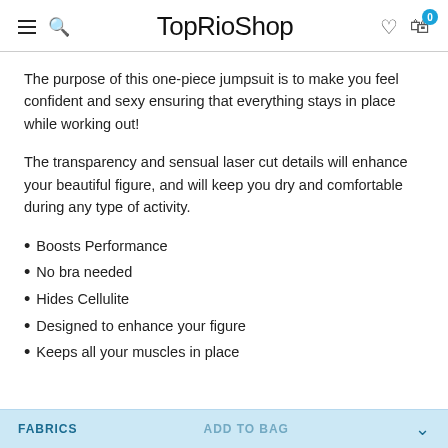TopRioShop
The purpose of this one-piece jumpsuit is to make you feel confident and sexy ensuring that everything stays in place while working out!
The transparency and sensual laser cut details will enhance your beautiful figure, and will keep you dry and comfortable during any type of activity.
Boosts Performance
No bra needed
Hides Cellulite
Designed to enhance your figure
Keeps all your muscles in place
FABRICS | ADD TO BAG